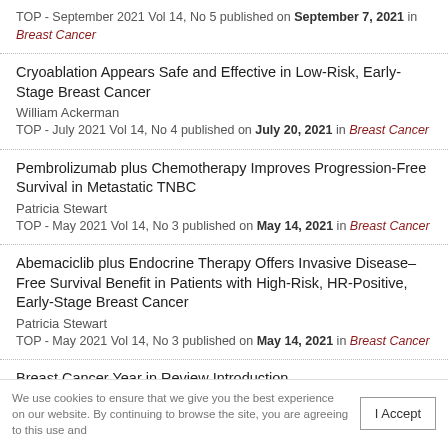TOP - September 2021 Vol 14, No 5 published on September 7, 2021 in Breast Cancer
Cryoablation Appears Safe and Effective in Low-Risk, Early-Stage Breast Cancer
William Ackerman
TOP - July 2021 Vol 14, No 4 published on July 20, 2021 in Breast Cancer
Pembrolizumab plus Chemotherapy Improves Progression-Free Survival in Metastatic TNBC
Patricia Stewart
TOP - May 2021 Vol 14, No 3 published on May 14, 2021 in Breast Cancer
Abemaciclib plus Endocrine Therapy Offers Invasive Disease-Free Survival Benefit in Patients with High-Risk, HR-Positive, Early-Stage Breast Cancer
Patricia Stewart
TOP - May 2021 Vol 14, No 3 published on May 14, 2021 in Breast Cancer
Breast Cancer Year in Review Introduction
2020 Year in Review - Breast Cancer published on January 24, 2021 in Breast Cancer
We use cookies to ensure that we give you the best experience on our website. By continuing to browse the site, you are agreeing to this use and